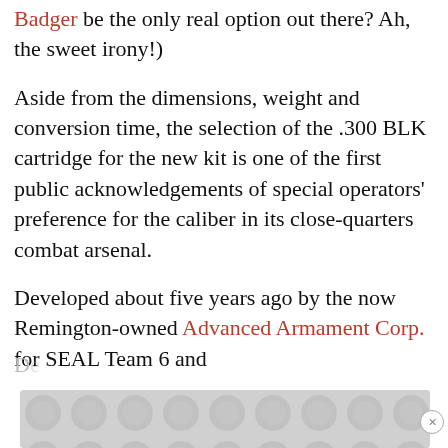Badger be the only real option out there? Ah, the sweet irony!)
Aside from the dimensions, weight and conversion time, the selection of the .300 BLK cartridge for the new kit is one of the first public acknowledgements of special operators' preference for the caliber in its close-quarters combat arsenal.
Developed about five years ago by the now Remington-owned Advanced Armament Corp. for SEAL Team 6 and